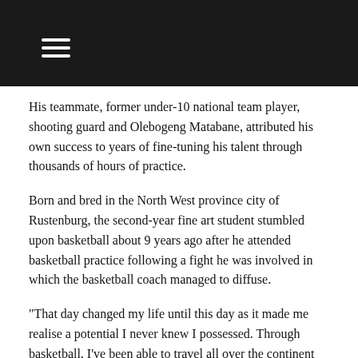His teammate, former under-10 national team player, shooting guard and Olebogeng Matabane, attributed his own success to years of fine-tuning his talent through thousands of hours of practice.
Born and bred in the North West province city of Rustenburg, the second-year fine art student stumbled upon basketball about 9 years ago after he attended basketball practice following a fight he was involved in which the basketball coach managed to diffuse.
“That day changed my life until this day as it made me realise a potential I never knew I possessed. Through basketball, I’ve been able to travel all over the continent from Botswana to Ethiopia as a youth basketball player,” said Matabane.
WSU basketball team coach, Sibusiso Williams, was at pains to stress the great significance of the duo being picked for the national team.
Williams said: “ I’m so happy for the boys and the entire WSU basketball programme – this is the first time in the existence of